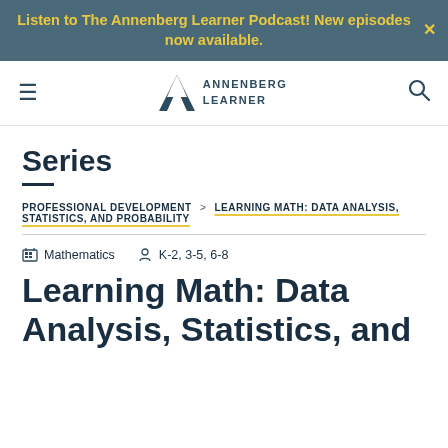Listen to The Annenberg Learner Podcast! New episodes now available.
[Figure (logo): Annenberg Learner logo with navigation hamburger menu and search icon]
Series
PROFESSIONAL DEVELOPMENT > LEARNING MATH: DATA ANALYSIS, STATISTICS, AND PROBABILITY
Mathematics  K-2, 3-5, 6-8
Learning Math: Data Analysis, Statistics, and